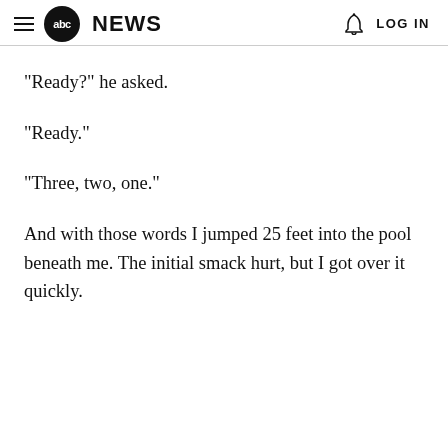abc NEWS | LOG IN
"Ready?" he asked.
"Ready."
"Three, two, one."
And with those words I jumped 25 feet into the pool beneath me. The initial smack hurt, but I got over it quickly.